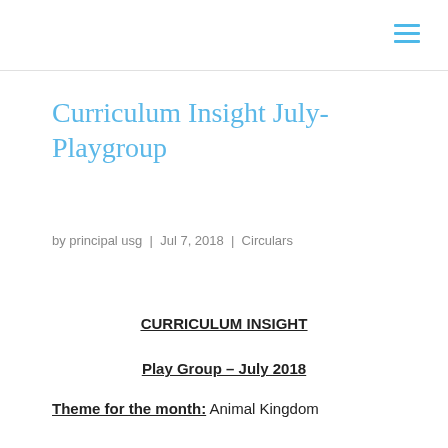Curriculum Insight July-Playgroup
by principal usg | Jul 7, 2018 | Circulars
CURRICULUM INSIGHT
Play Group – July 2018
Theme for the month: Animal Kingdom